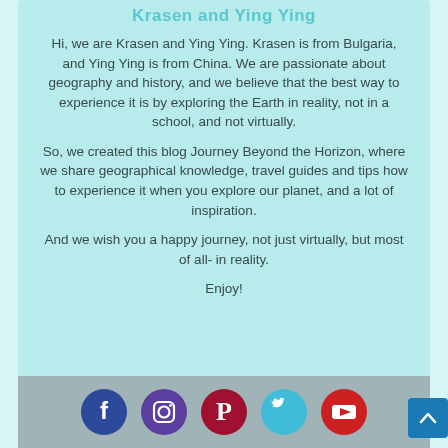Krasen and Ying Ying
Hi, we are Krasen and Ying Ying. Krasen is from Bulgaria, and Ying Ying is from China. We are passionate about geography and history, and we believe that the best way to experience it is by exploring the Earth in reality, not in a school, and not virtually.
So, we created this blog Journey Beyond the Horizon, where we share geographical knowledge, travel guides and tips how to experience it when you explore our planet, and a lot of inspiration.
And we wish you a happy journey, not just virtually, but most of all- in reality.
Enjoy!
[Figure (infographic): Social media icons row: Facebook (dark blue circle), Instagram (purple circle), Pinterest (dark red circle), Twitter (light blue circle), YouTube (red circle). Below a scroll-to-top button (blue square with up arrow) on the right.]